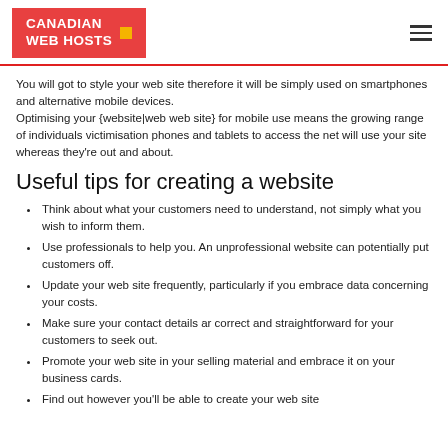CANADIAN WEB HOSTS
You will got to style your web site therefore it will be simply used on smartphones and alternative mobile devices.
Optimising your {website|web web site} for mobile use means the growing range of individuals victimisation phones and tablets to access the net will use your site whereas they're out and about.
Useful tips for creating a website
Think about what your customers need to understand, not simply what you wish to inform them.
Use professionals to help you. An unprofessional website can potentially put customers off.
Update your web site frequently, particularly if you embrace data concerning your costs.
Make sure your contact details ar correct and straightforward for your customers to seek out.
Promote your web site in your selling material and embrace it on your business cards.
Find out however you'll be able to create your web site